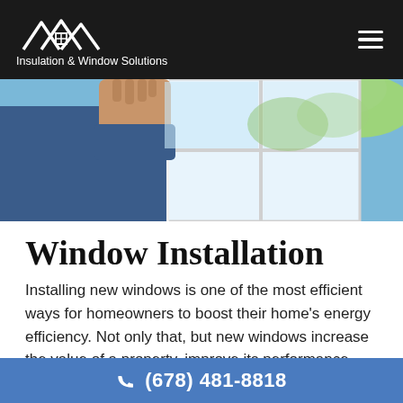Insulation & Window Solutions
[Figure (photo): Person installing or holding a white window frame, with green foliage visible in background]
Window Installation
Installing new windows is one of the most efficient ways for homeowners to boost their home’s energy efficiency. Not only that, but new windows increase the value of a property, improve its performance, and look fantastic! Our professional window installers can install or replace any
(678) 481-8818